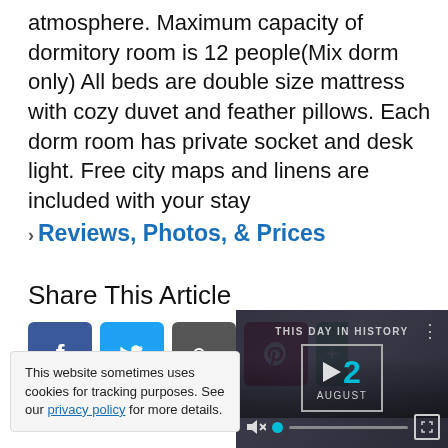atmosphere. Maximum capacity of dormitory room is 12 people(Mix dorm only) All beds are double size mattress with cozy duvet and feather pillows. Each dorm room has private socket and desk light. Free city maps and linens are included with your stay
▸ Reviews, Photos, & Prices
Share This Article
[Figure (other): Social share buttons: Facebook (blue), Twitter (light blue), Google+ (gray), Pinterest (red), and one more (green partial)]
[Figure (screenshot): Video player showing 'THIS DAY IN HISTORY' with date 12 AUGUST, play button, mute icon, progress bar, and fullscreen button.]
This website sometimes uses cookies for tracking purposes. See our privacy policy for more details.